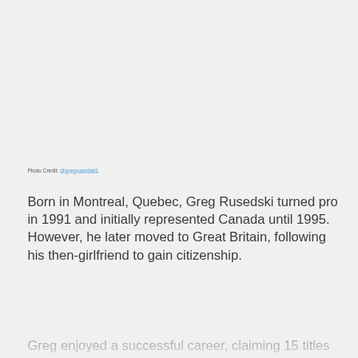Photo Credit: @gregrusedski1
Born in Montreal, Quebec, Greg Rusedski turned pro in 1991 and initially represented Canada until 1995. However, he later moved to Great Britain, following his then-girlfriend to gain citizenship.
Greg enjoyed a successful career, claiming 15 titles and reaching a career-high ranking of No. 4 in 1997. One of his best results